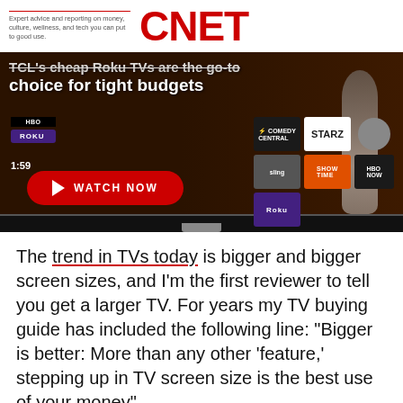Expert advice and reporting on money, culture, wellness, and tech you can put to good use. CNET
[Figure (screenshot): Video thumbnail showing TCL cheap Roku TVs article with Watch Now button overlay. Shows a Roku TV displaying streaming app grid including STARZ, HBO NOW, Showtime, Comedy Central, and Roku channels. Duration shows 1:59.]
The trend in TVs today is bigger and bigger screen sizes, and I'm the first reviewer to tell you get a larger TV. For years my TV buying guide has included the following line: "Bigger is better: More than any other 'feature,' stepping up in TV screen size is the best use of your money".